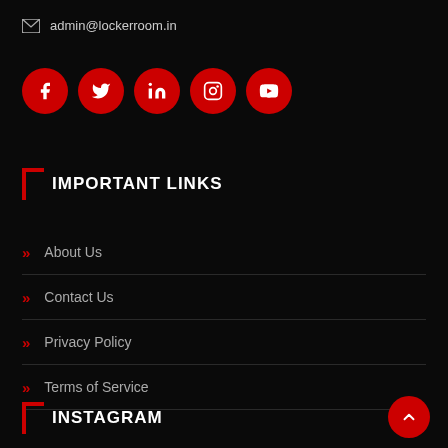admin@lockerroom.in
[Figure (illustration): Row of five red circular social media icon buttons: Facebook, Twitter, LinkedIn, Instagram, YouTube]
IMPORTANT LINKS
About Us
Contact Us
Privacy Policy
Terms of Service
INSTAGRAM